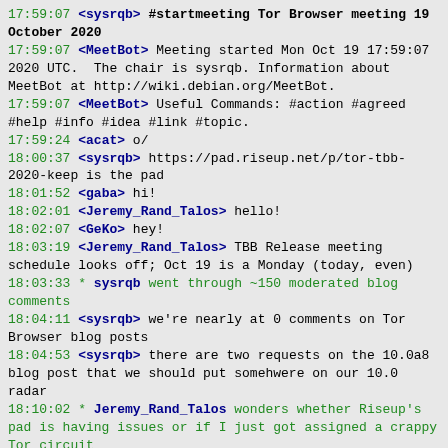17:59:07 <sysrqb> #startmeeting Tor Browser meeting 19 October 2020
17:59:07 <MeetBot> Meeting started Mon Oct 19 17:59:07 2020 UTC.  The chair is sysrqb. Information about MeetBot at http://wiki.debian.org/MeetBot.
17:59:07 <MeetBot> Useful Commands: #action #agreed #help #info #idea #link #topic.
17:59:24 <acat> o/
18:00:37 <sysrqb> https://pad.riseup.net/p/tor-tbb-2020-keep is the pad
18:01:52 <gaba> hi!
18:02:01 <Jeremy_Rand_Talos> hello!
18:02:07 <GeKo> hey!
18:03:19 <Jeremy_Rand_Talos> TBB Release meeting schedule looks off; Oct 19 is a Monday (today, even)
18:03:33 * sysrqb went through ~150 moderated blog comments
18:04:11 <sysrqb> we're nearly at 0 comments on Tor Browser blog posts
18:04:53 <sysrqb> there are two requests on the 10.0a8 blog post that we should put somehwere on our 10.0 radar
18:10:02 * Jeremy_Rand_Talos wonders whether Riseup's pad is having issues or if I just got assigned a crappy Tor circuit
18:11:19 <gaba> i think it is having issues
18:12:14 <Jeremy_Rand_Talos> ok then
18:12:25 * Jeremy_Rand_Talos waits patiently for it to come back online
18:12:40 <sysrqb> are people updating their statuses?